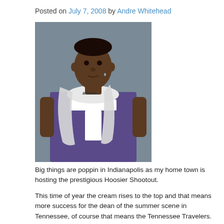Posted on July 7, 2008 by Andre Whitehead
[Figure (photo): Young male basketball player wearing a purple Adidas jersey with a white towel around his neck, standing against a gray background.]
Big things are poppin in Indianapolis as my home town is hosting the prestigious Hoosier Shootout.
This time of year the cream rises to the top and that means more success for the dean of the summer scene in Tennessee, of course that means the Tennessee Travelers.